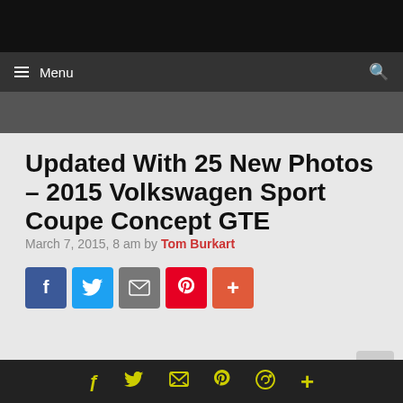Menu
Updated With 25 New Photos – 2015 Volkswagen Sport Coupe Concept GTE
March 7, 2015, 8 am by Tom Burkart
[Figure (infographic): Social sharing buttons: Facebook (blue), Twitter (light blue), Email (grey), Pinterest (red), More (orange-red)]
[Figure (photo): Partial photo strip showing people at an auto show event]
Social sharing icons row: Facebook, Twitter, Email, Pinterest, WhatsApp, More